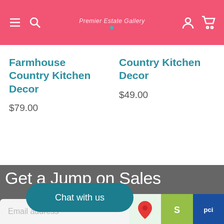Premier Estate Gallery
Farmhouse Country Kitchen Decor
$79.00
Country Kitchen Decor
$49.00
Get a Jump on Sales and New Items
Chat with us
Email address